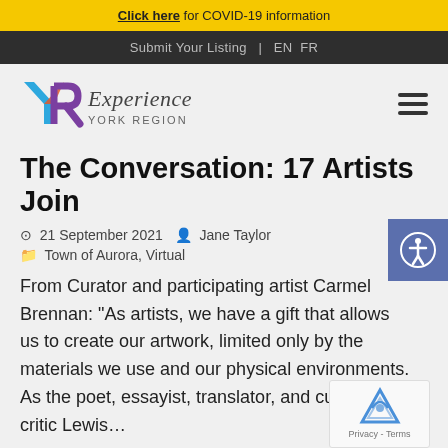Click here for COVID-19 information
Submit Your Listing  |  EN FR
[Figure (logo): Experience York Region logo with YR monogram in blue, purple and red colors]
The Conversation: 17 Artists Join
21 September 2021   Jane Taylor
Town of Aurora, Virtual
From Curator and participating artist Carmel Brennan: "As artists, we have a gift that allows us to create our artwork, limited only by the materials we use and our physical environments. As the poet, essayist, translator, and cultural critic Lewis...